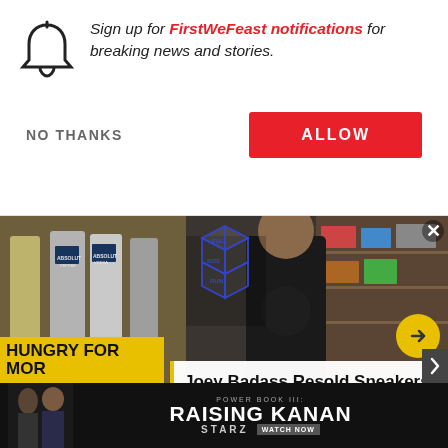Sign up for FirstWeFeast notifications for breaking news and stories.
NO THANKS
ALLOW
[Figure (screenshot): Two content cards: left shows drink article with Absolut Vodka bottles, right shows Joey Badass sneaker video with Full Size Run logo]
DRINK
Elevate Your Cl... Recipe with Ric...
Joey Badass Resold Sneakers to Launch His Rap Career | Full Size Run
HUNGRY FOR MOR...
[Figure (screenshot): Power Book III: Raising Kanan advertisement banner on STARZ - Watch Now]